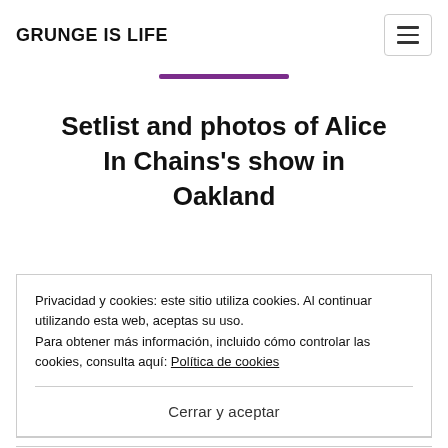GRUNGE IS LIFE
Setlist and photos of Alice In Chains's show in Oakland
Privacidad y cookies: este sitio utiliza cookies. Al continuar utilizando esta web, aceptas su uso.
Para obtener más información, incluido cómo controlar las cookies, consulta aquí: Política de cookies
Cerrar y aceptar